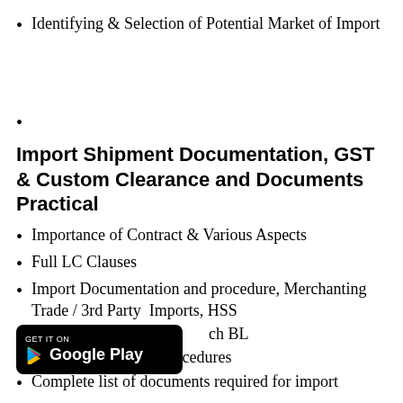Identifying & Selection of Potential Market of Import
Import Shipment Documentation, GST & Custom Clearance and Documents Practical
Importance of Contract & Various Aspects
Full LC Clauses
Import Documentation and procedure, Merchanting Trade / 3rd Party  Imports, HSS
...ch BL
GST & Custom Procedures
Complete list of documents required for import